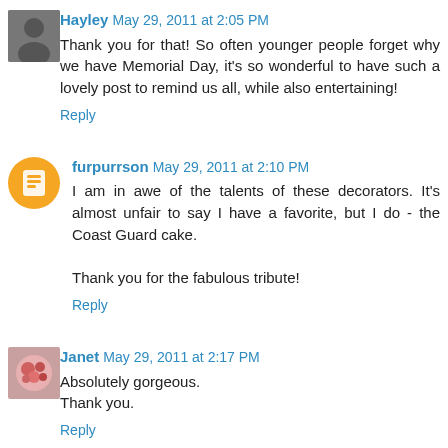Hayley May 29, 2011 at 2:05 PM
Thank you for that! So often younger people forget why we have Memorial Day, it's so wonderful to have such a lovely post to remind us all, while also entertaining!
Reply
furpurrson May 29, 2011 at 2:10 PM
I am in awe of the talents of these decorators. It's almost unfair to say I have a favorite, but I do - the Coast Guard cake.

Thank you for the fabulous tribute!
Reply
Janet May 29, 2011 at 2:17 PM
Absolutely gorgeous.
Thank you.
Reply